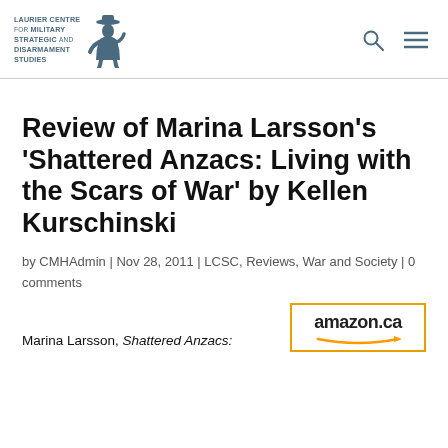[Figure (logo): Laurier Centre for Military Strategic and Disarmament Studies logo with soldier silhouette figure]
Review of Marina Larsson's 'Shattered Anzacs: Living with the Scars of War' by Kellen Kurschinski
by CMHAdmin | Nov 28, 2011 | LCSC, Reviews, War and Society | 0 comments
Marina Larsson, Shattered Anzacs:
[Figure (logo): Amazon.ca logo with orange arrow]